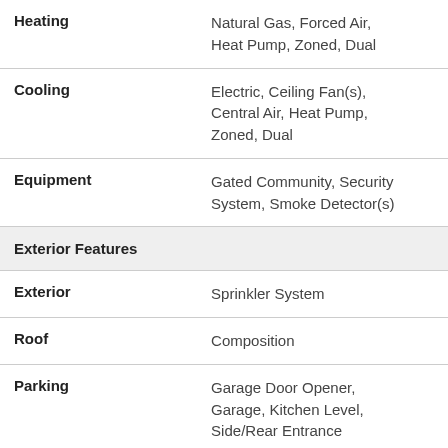| Feature | Value |
| --- | --- |
| Heating | Natural Gas, Forced Air, Heat Pump, Zoned, Dual |
| Cooling | Electric, Ceiling Fan(s), Central Air, Heat Pump, Zoned, Dual |
| Equipment | Gated Community, Security System, Smoke Detector(s) |
| Exterior Features |  |
| Exterior | Sprinkler System |
| Roof | Composition |
| Parking | Garage Door Opener, Garage, Kitchen Level, Side/Rear Entrance |
| Amenities | Clubhouse, Gated, Fitness Center, Pool, Sidewalks |